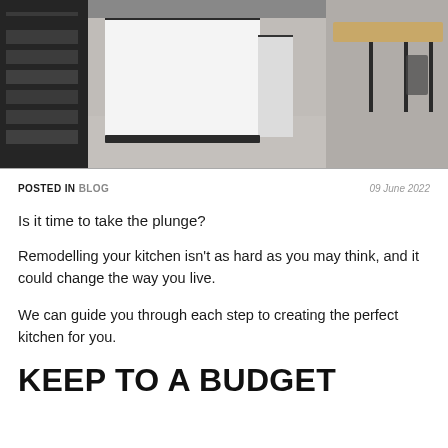[Figure (photo): Modern kitchen interior with white island cabinet, dark shelving unit on the left with bottles and items, concrete floor, and dining table visible on the right]
POSTED IN BLOG    09 June 2022
Is it time to take the plunge?
Remodelling your kitchen isn't as hard as you may think, and it could change the way you live.
We can guide you through each step to creating the perfect kitchen for you.
KEEP TO A BUDGET